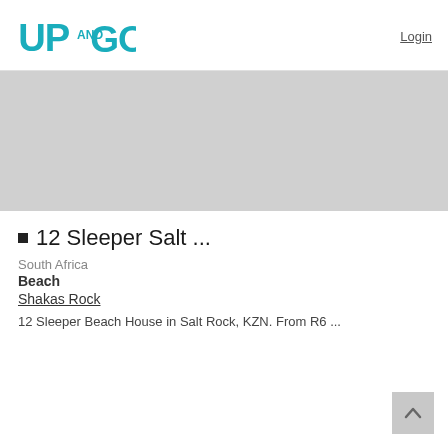UP AND GO  |  Login
[Figure (other): Gray banner/image placeholder area]
■ 12 Sleeper Salt ...
South Africa
Beach
Shakas Rock
12 Sleeper Beach House in Salt Rock, KZN. From R6 ...